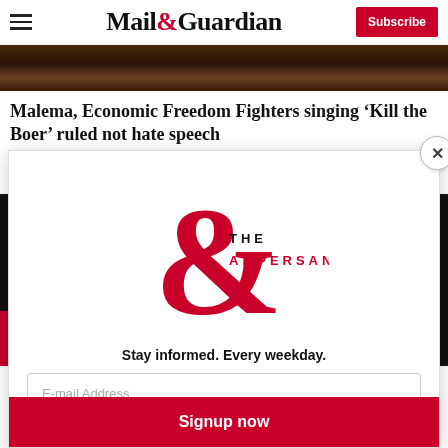Mail&Guardian | Subscribe
[Figure (photo): Close-up dark textured photo, likely a person's head/hair]
Malema, Economic Freedom Fighters singing ‘Kill the Boer’ ruled not hate speech
[Figure (illustration): Modal popup overlay: The Ampersand newsletter signup. Red ampersand logo with text THE AMPERSAND. Tagline: Stay informed. Every weekday. Email address input field and Signup now button.]
E
M